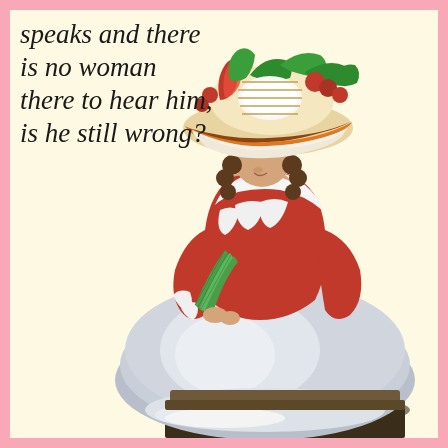[Figure (illustration): A vintage illustration of an 18th-century woman seated, wearing an elaborate decorated hat with flowers and ribbons, a red and white ruffled dress, and a grey/white skirt. She holds a green fan. The background is a pale cream/yellow. The image is framed with a pink border.]
speaks and there is no woman there to hear him, is he still wrong?